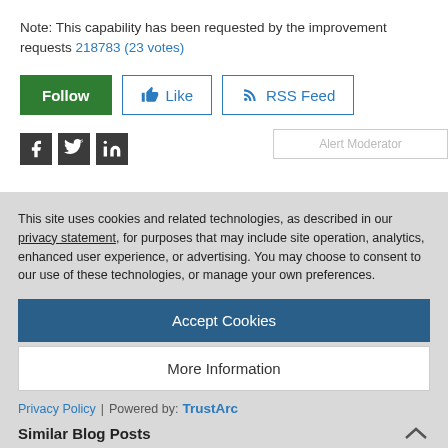Note: This capability has been requested by the improvement requests 218783 (23 votes)
[Figure (screenshot): Buttons row: green Follow button, outlined Like button with thumbs up icon, outlined RSS Feed button with RSS icon]
[Figure (screenshot): Social share icons: Facebook (dark), Twitter (dark), LinkedIn (dark), and a partial Alert Moderator button outline on the right]
This site uses cookies and related technologies, as described in our privacy statement, for purposes that may include site operation, analytics, enhanced user experience, or advertising. You may choose to consent to our use of these technologies, or manage your own preferences.
Accept Cookies
More Information
Privacy Policy | Powered by: TrustArc
Similar Blog Posts